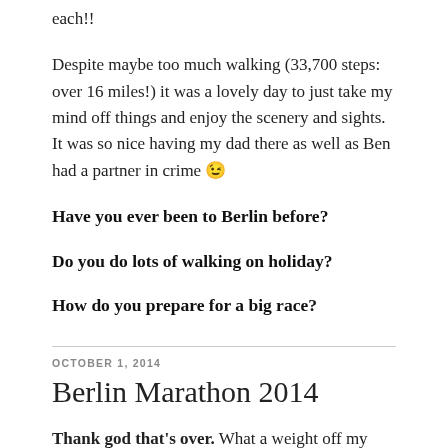each!!
Despite maybe too much walking (33,700 steps: over 16 miles!) it was a lovely day to just take my mind off things and enjoy the scenery and sights. It was so nice having my dad there as well as Ben had a partner in crime 😉
Have you ever been to Berlin before?
Do you do lots of walking on holiday?
How do you prepare for a big race?
OCTOBER 1, 2014
Berlin Marathon 2014
Thank god that's over. What a weight off my mind! This will probably be quite a long post, so here's a quick